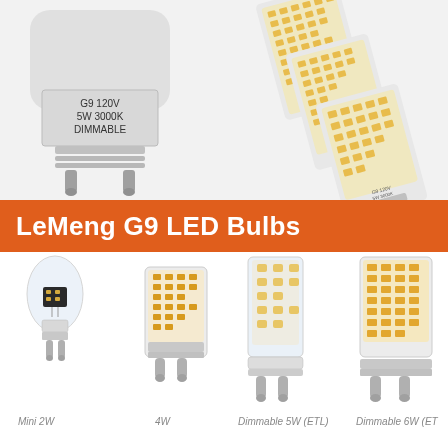[Figure (photo): Product photo showing G9 LED bulbs. Left: single G9 bulb with label 'G9 120V 5W 3000K DIMMABLE'. Right: three G9 LED bulbs shown at angle displaying warm LED chips.]
LeMeng G9 LED Bulbs
[Figure (photo): Four G9 LED bulb variants shown side-by-side: Mini 2W (small clear bulb), 4W (medium frosted bulb), Dimmable 5W ETL (taller clear bulb), Dimmable 6W ETL (widest bulb with dense LED chips)]
Mini 2W    4W    Dimmable 5W (ETL)   Dimmable 6W (ET